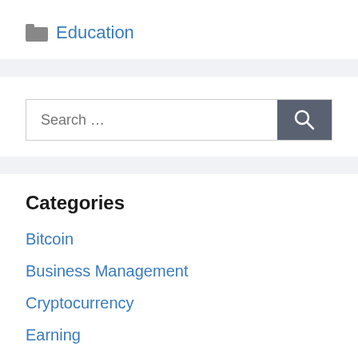Education
Categories
Bitcoin
Business Management
Cryptocurrency
Earning